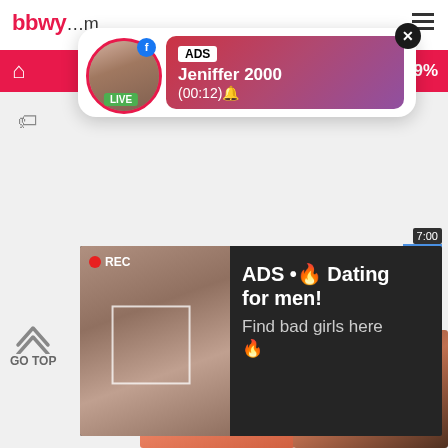[Figure (screenshot): Website top bar with pink logo text 'bbwy...com' and hamburger menu icon]
[Figure (screenshot): Pink navigation strip with home icon and '69%' text on right]
[Figure (screenshot): Pop-up notification bubble with avatar (LIVE badge), ADS label, name 'Jeniffer 2000', time '(00:12)' and close X button]
[Figure (screenshot): Dark ad overlay with photo of woman taking selfie with REC indicator, and text 'ADS • Dating for men! Find bad girls here']
Ariana Grand
526 views
From Texas
498 views
[Figure (photo): Thumbnail of blonde woman]
[Figure (photo): Thumbnail of older woman with glasses]
GO TOP